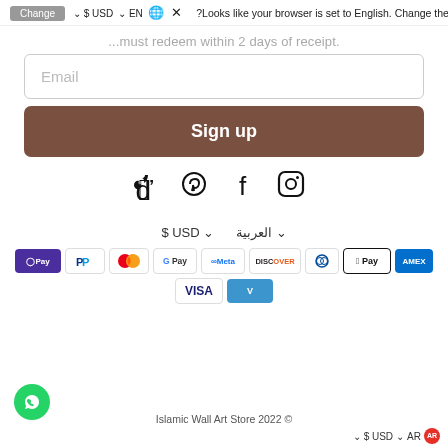?Looks like your browser is set to English. Change the language ×
Change   $ USD ∨   EN 🌐
...must redeem within 2 days of receipt.
Email (input field)
Sign up
[Figure (infographic): Social media icons: TikTok, Pinterest, Facebook, Instagram]
$ USD ∨   العربية ∨
[Figure (infographic): Payment method icons: OPay, PayPal, Mastercard, Google Pay, Meta Pay, Discover, Diners Club, Apple Pay, American Express, Visa, Venmo]
Islamic Wall Art Store 2022 ©
∨  $ USD  ∨  AR 🌐